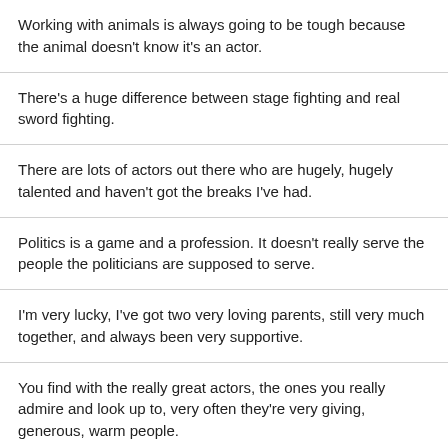Working with animals is always going to be tough because the animal doesn't know it's an actor.
There's a huge difference between stage fighting and real sword fighting.
There are lots of actors out there who are hugely, hugely talented and haven't got the breaks I've had.
Politics is a game and a profession. It doesn't really serve the people the politicians are supposed to serve.
I'm very lucky, I've got two very loving parents, still very much together, and always been very supportive.
You find with the really great actors, the ones you really admire and look up to, very often they're very giving, generous, warm people.